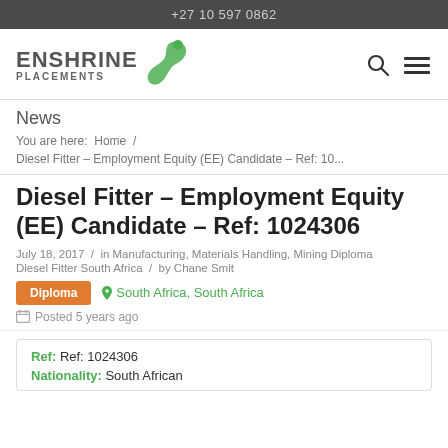+27 10 597 0862
[Figure (logo): Enshrine Placements logo with green figure icon, company name in dark grey, search and hamburger menu icons on right]
News
You are here:  Home  /
Diesel Fitter – Employment Equity (EE) Candidate – Ref: 10...
Diesel Fitter – Employment Equity (EE) Candidate – Ref: 1024306
July 18, 2017  /  in Manufacturing, Materials Handling, Mining Diploma Diesel Fitter South Africa  /  by Chane Smit
Diploma   📍 South Africa, South Africa
Posted 5 years ago
| Ref: | Ref: 1024306 |
| Nationality: | South African |